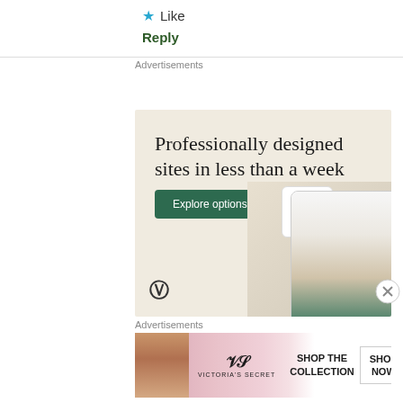★ Like
Reply
Advertisements
[Figure (other): WordPress advertisement: 'Professionally designed sites in less than a week' with Explore options button, WordPress logo, and website mockup devices on beige background]
Advertisements
[Figure (other): Victoria's Secret advertisement: 'SHOP THE COLLECTION' with model, VS logo, and 'SHOP NOW' button on pink gradient background]